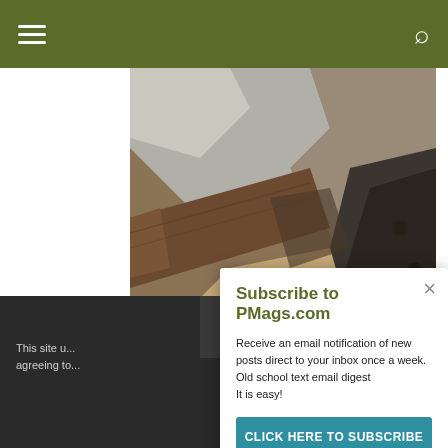Navigation bar with hamburger menu and search icon
[Figure (photo): Close-up photograph of various rocks and stones — grey granite, dark rough volcanic rock, sandy-coloured smaller rock, and a dark wooden log, arranged together in natural light]
Subscribe to PMags.com
Receive an email notification of new posts direct to your inbox once a week.
Old school text email digest
It is easy!
CLICK HERE TO SUBSCRIBE
This site u... agreeing to...